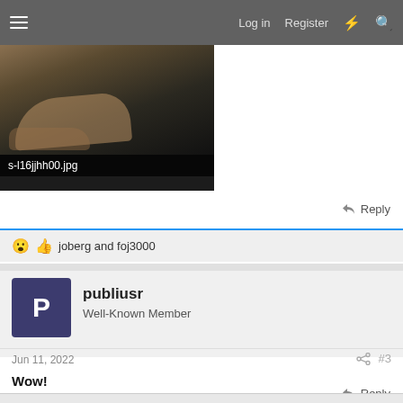Log in  Register
[Figure (photo): A dark image showing what appears to be a hand on a dark surface. Filename shown: s-l16jjhh00.jpg]
s-l16jjhh00.jpg
Reply
😮 👍 joberg and foj3000
publiusr
Well-Known Member
Jun 11, 2022
#3
Wow!
Reply